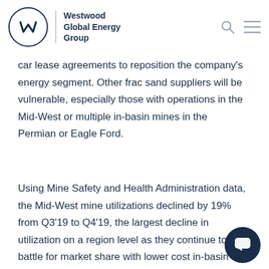Westwood Global Energy Group
car lease agreements to reposition the company's energy segment. Other frac sand suppliers will be vulnerable, especially those with operations in the Mid-West or multiple in-basin mines in the Permian or Eagle Ford.
Using Mine Safety and Health Administration data, the Mid-West mine utilizations declined by 19% from Q3'19 to Q4'19, the largest decline in utilization on a region level as they continue to battle for market share with lower cost in-basin sand mines.